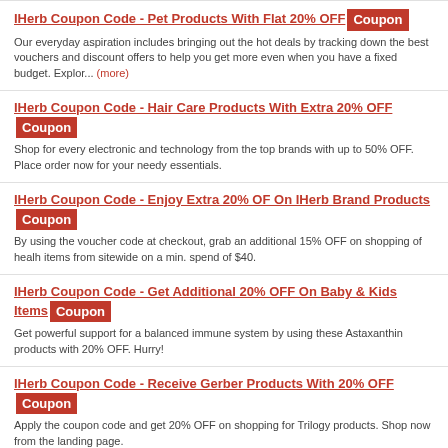IHerb Coupon Code - Pet Products With Flat 20% OFF Coupon
Our everyday aspiration includes bringing out the hot deals by tracking down the best vouchers and discount offers to help you get more even when you have a fixed budget. Explor... (more)
IHerb Coupon Code - Hair Care Products With Extra 20% OFF Coupon
Shop for every electronic and technology from the top brands with up to 50% OFF. Place order now for your needy essentials.
IHerb Coupon Code - Enjoy Extra 20% OF On IHerb Brand Products Coupon
By using the voucher code at checkout, grab an additional 15% OFF on shopping of healh items from sitewide on a min. spend of $40.
IHerb Coupon Code - Get Additional 20% OFF On Baby & Kids Items Coupon
Get powerful support for a balanced immune system by using these Astaxanthin products with 20% OFF. Hurry!
IHerb Coupon Code - Receive Gerber Products With 20% OFF Coupon
Apply the coupon code and get 20% OFF on shopping for Trilogy products. Shop now from the landing page.